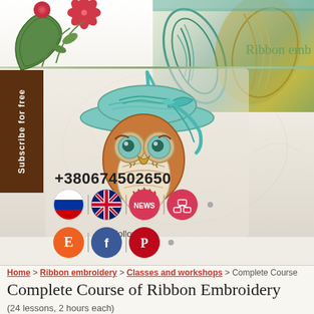[Figure (illustration): Website header banner showing embroidered owl wearing a teal hat with ribbon, surrounded by floral embroidery decorations. Right side shows teal and gold embroidery details. Top right shows partial text 'Ribbon emb'. Left sidebar shows brown vertical 'Subscribe for free' button.]
+380674502650
[Figure (illustration): Row of circular icon buttons: Russian flag, British flag (UK), pink NEWS button, pink site-map button, separated by vertical lines. Then 'Follow us:' label with orange E (Etsy?), blue Facebook, red Pinterest circular buttons, and a gray dot.]
Home > Ribbon embroidery > Classes and workshops > Complete Course
Complete Course of Ribbon Embroidery
(24 lessons, 2 hours each)